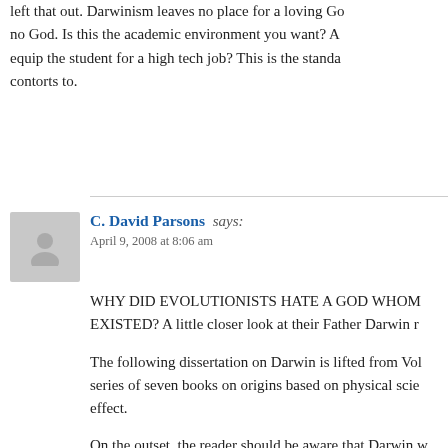left that out. Darwinism leaves no place for a loving Go... no God. Is this the academic environment you want? A... equip the student for a high tech job? This is the standa... contorts to.
C. David Parsons says:
April 9, 2008 at 8:06 am
WHY DID EVOLUTIONISTS HATE A GOD WHOM... EXISTED? A little closer look at their Father Darwin r...
The following dissertation on Darwin is lifted from Vol... series of seven books on origins based on physical scie... effect.
On the outset, the reader should be aware that Darwin w... did not deny the possibility that God exists but believed... to decide if there is, indeed, any divine force. Darwin, i...